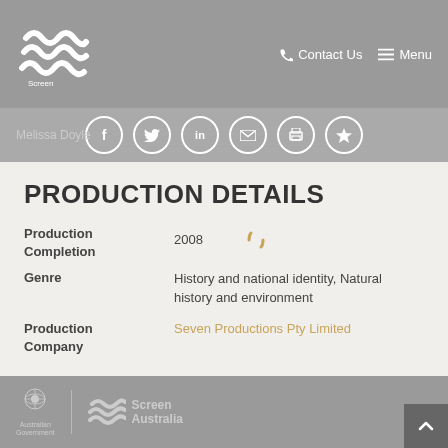Screen Australia — Contact Us  Menu
Melissa Doyle
PRODUCTION DETAILS
Production Completion: 2008
Genre: History and national identity, Natural history and environment
Production Company: Seven Productions Pty Limited
Australian Government | Screen Australia